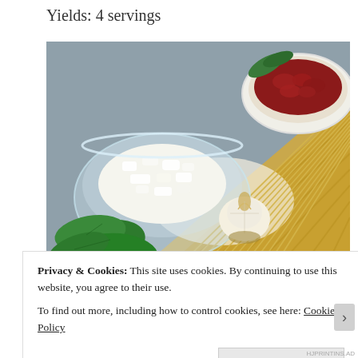Yields: 4 servings
[Figure (photo): Food ingredients on a wooden board: a glass bowl of crumbled white cheese (feta), a white ceramic bowl of sun-dried tomatoes, dried spaghetti pasta, fresh green basil leaves, and a head of garlic, arranged on a lace doily on a gray surface.]
Privacy & Cookies: This site uses cookies. By continuing to use this website, you agree to their use.
To find out more, including how to control cookies, see here: Cookie Policy
Close and accept